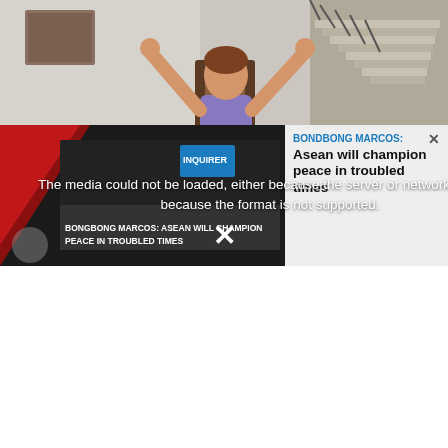INQUIRER.NET
[Figure (photo): Woman in purple shirt and black shorts performing a chair exercise with arms raised, in a home interior with stairs in background]
An Incredible Slimming Workout For The Stomach
[Figure (screenshot): Video player showing error message: The media could not be loaded, either because the server or network failed or because the format is not supported. Background shows a news video thumbnail with text BONGBONG MARCOS: ASEAN WILL CHAMPION PEACE IN TROUBLED TIMES. A news card overlay shows Bondbong Marcos: Asean will champion peace in troubled times.]